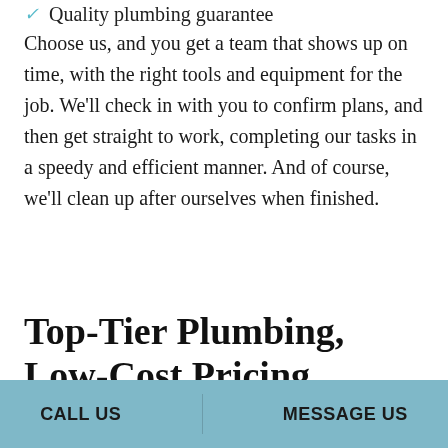Quality plumbing guarantee
Choose us, and you get a team that shows up on time, with the right tools and equipment for the job. We'll check in with you to confirm plans, and then get straight to work, completing our tasks in a speedy and efficient manner. And of course, we'll clean up after ourselves when finished.
Top-Tier Plumbing, Low-Cost Pricing
As a local business ourselves, we know what our commercial clients need. They need reliable service
CALL US   MESSAGE US